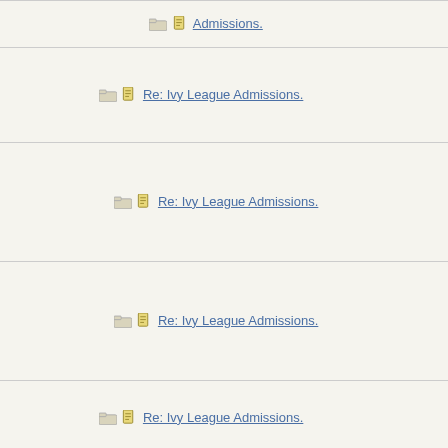| Topic | Author |
| --- | --- |
| [folder][doc] Re: Ivy League Admissions. | Bostonia |
| [folder] [doc] Re: Ivy League Admissions. | Dude |
| [folder] [doc] Re: Ivy League Admissions. | 22B |
| [folder] [doc] Re: Ivy League Admissions. | Dude |
| [folder] [doc] Re: Ivy League Admissions. | HowlerK |
| [folder] [doc] Re: Ivy League Admissions. | HowlerK |
| [folder] [doc] Re: Ivy League Admissions. | intparent |
| [folder] [doc] Re: Ivy League Admissions. | JonLaw |
| [folder] [doc] Re: Ivy League Admissions. | madeinu |
| [folder] [doc] Re: Ivy League Admissions. | HowlerK |